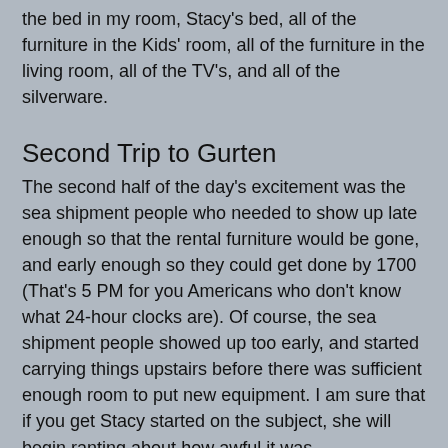the bed in my room, Stacy's bed, all of the furniture in the Kids' room, all of the furniture in the living room, all of the TV's, and all of the silverware.
Second Trip to Gurten
The second half of the day's excitement was the sea shipment people who needed to show up late enough so that the rental furniture would be gone, and early enough so they could get done by 1700 (That's 5 PM for you Americans who don't know what 24-hour clocks are). Of course, the sea shipment people showed up too early, and started carrying things upstairs before there was sufficient enough room to put new equipment. I am sure that if you get Stacy started on the subject, she will begin ranting about how awful it was.
I, however, was charged with the very important task of keeping the kids out of the way. Out of the way means "out of the apartment." So, this meant another day to Gurten. As was previously reported, we had already enjoyed a day trip to Gurten, the only change in cast this time, was Stacy was not present, and Jake was not along for the original trip, but